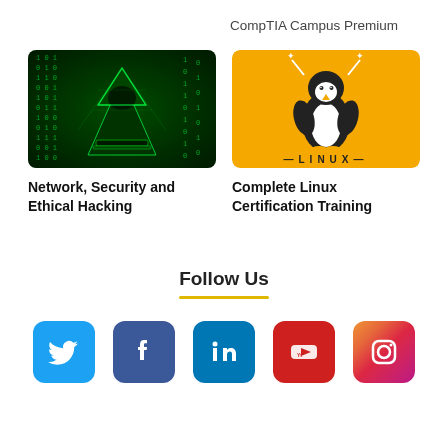CompTIA Campus Premium
[Figure (illustration): Hacker figure with green matrix-style background]
[Figure (illustration): Linux penguin mascot on yellow/orange background with LINUX text]
Network, Security and Ethical Hacking
Complete Linux Certification Training
Follow Us
[Figure (logo): Twitter social media icon (bird) on blue rounded square]
[Figure (logo): Facebook icon (f) on dark blue rounded square]
[Figure (logo): LinkedIn icon (in) on teal rounded square]
[Figure (logo): YouTube icon on red rounded square]
[Figure (logo): Instagram icon on gradient pink/purple rounded square]